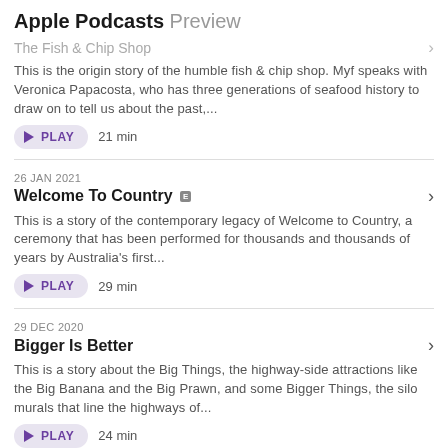Apple Podcasts Preview
The Fish & Chip Shop
This is the origin story of the humble fish & chip shop. Myf speaks with Veronica Papacosta, who has three generations of seafood history to draw on to tell us about the past,...
PLAY  21 min
26 JAN 2021
Welcome To Country
This is a story of the contemporary legacy of Welcome to Country, a ceremony that has been performed for thousands and thousands of years by Australia's first...
PLAY  29 min
29 DEC 2020
Bigger Is Better
This is a story about the Big Things, the highway-side attractions like the Big Banana and the Big Prawn, and some Bigger Things, the silo murals that line the highways of...
PLAY  24 min